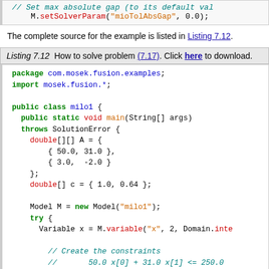[Figure (screenshot): Top code snippet showing M.setSolverParam call in monospace font]
The complete source for the example is listed in Listing 7.12.
Listing 7.12  How to solve problem (7.17). Click here to download.
[Figure (screenshot): Java source code listing for milo1 class showing package declaration, imports, class definition, main method, double[][] A matrix, double[] c array, Model M creation, try block, Variable x declaration, comments about constraints, and M.constraint calls]